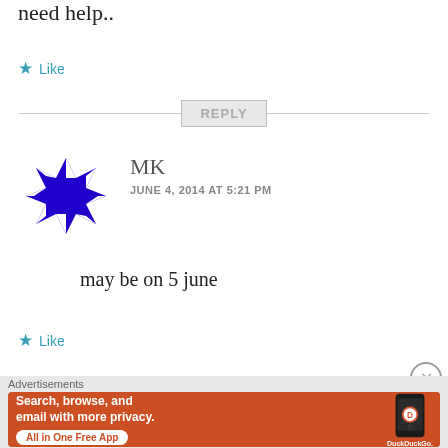need help..
★ Like
REPLY
[Figure (illustration): Blue and white geometric avatar icon for user MK]
MK
JUNE 4, 2014 AT 5:21 PM
may be on 5 june
★ Like
Advertisements
[Figure (screenshot): DuckDuckGo advertisement banner: Search, browse, and email with more privacy. All in One Free App.]